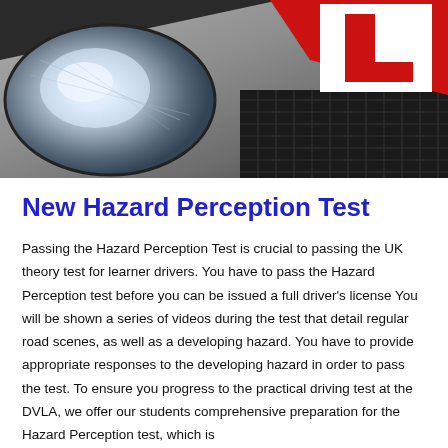[Figure (photo): Close-up photo of a car headlight and bonnet with a red and white L-plate (learner driver plate) displayed prominently on the front of the vehicle.]
New Hazard Perception Test
Passing the Hazard Perception Test is crucial to passing the UK theory test for learner drivers. You have to pass the Hazard Perception test before you can be issued a full driver's license You will be shown a series of videos during the test that detail regular road scenes, as well as a developing hazard. You have to provide appropriate responses to the developing hazard in order to pass the test. To ensure you progress to the practical driving test at the DVLA, we offer our students comprehensive preparation for the Hazard Perception test, which is...